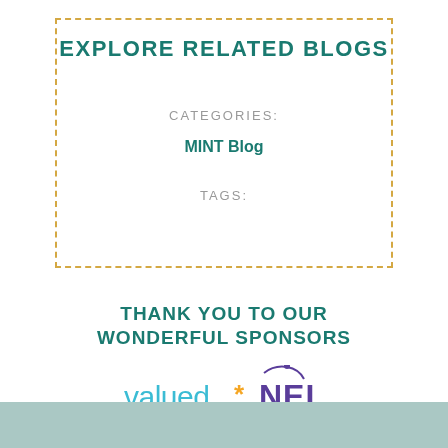EXPLORE RELATED BLOGS
CATEGORIES:
MINT Blog
TAGS:
THANK YOU TO OUR WONDERFUL SPONSORS
[Figure (logo): valued* and NEL Fund Managers sponsor logos side by side]